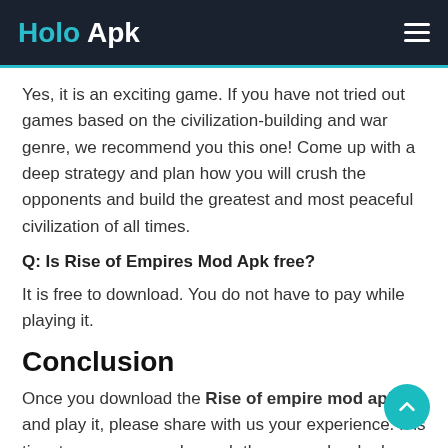Holo Apk
Yes, it is an exciting game. If you have not tried out games based on the civilization-building and war genre, we recommend you this one! Come up with a deep strategy and plan how you will crush the opponents and build the greatest and most peaceful civilization of all times.
Q: Is Rise of Empires Mod Apk free?
It is free to download. You do not have to pay while playing it.
Conclusion
Once you download the Rise of empire mod apk and play it, please share with us your experience. It is time to wage war and smash those people who have disturbed the peace of town and invaded the city as well. Get enter into the medieval